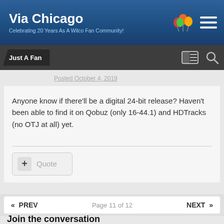Via Chicago — Celebrating 20 Years As A Wilco Fan Community!
Just A Fan
Posted October 4, 2019
Anyone know if there'll be a digital 24-bit release? Haven't been able to find it on Qobuz (only 16-44.1) and HDTracks (no OTJ at all) yet.
« PREV   Page 11 of 12   NEXT »
Join the conversation